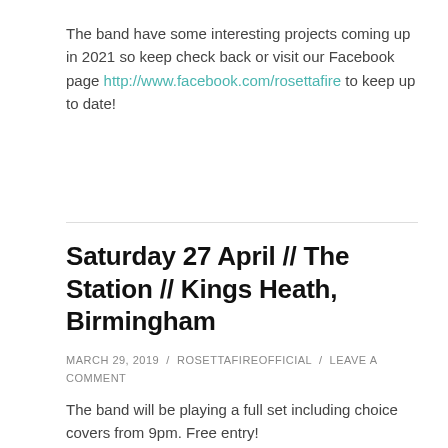The band have some interesting projects coming up in 2021 so keep check back or visit our Facebook page http://www.facebook.com/rosettafire to keep up to date!
Saturday 27 April // The Station // Kings Heath, Birmingham
MARCH 29, 2019 / ROSETTAFIREOFFICIAL / LEAVE A COMMENT
The band will be playing a full set including choice covers from 9pm. Free entry!